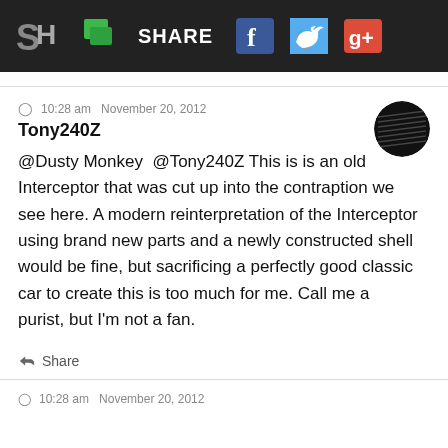SH | SHARE [Facebook] [Twitter] [Google+]
10:28 am   November 20, 2012
Tony240Z
@Dusty Monkey @Tony240Z This is is an old Interceptor that was cut up into the contraption we see here. A modern reinterpretation of the Interceptor using brand new parts and a newly constructed shell would be fine, but sacrificing a perfectly good classic car to create this is too much for me. Call me a purist, but I'm not a fan.
Share
10:28 am   November 20, 2012